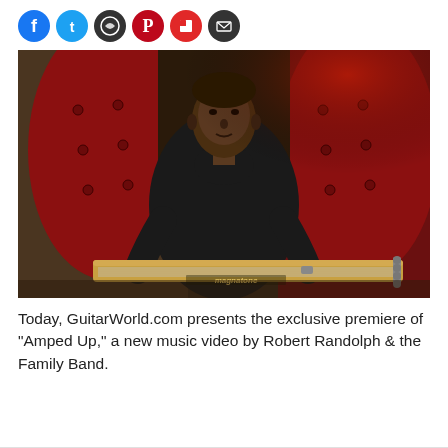[Figure (other): Row of social media sharing icons: Facebook (blue circle), Twitter (blue circle), WhatsApp (green circle), Pinterest (red circle), Flipboard (red circle), Email (dark circle)]
[Figure (photo): A young Black man in a dark button-up shirt sits in a large tufted red leather chair, leaning forward over a Magnatone pedal steel guitar placed on a table in front of him. The background shows warm interior lighting with red and golden tones.]
Today, GuitarWorld.com presents the exclusive premiere of "Amped Up," a new music video by Robert Randolph & the Family Band.